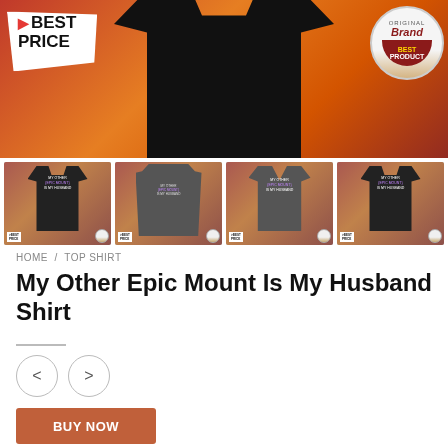[Figure (photo): Main product image of a black t-shirt with 'MY OTHER {EPIC MOUNT} IS MY HUSBAND' text, on a red/orange textured background. 'BEST PRICE' badge on left, 'Original Brand Best Product' badge on right.]
[Figure (photo): Four thumbnail images showing the same shirt design on different garment styles: black t-shirt, grey hoodie back, grey v-neck, grey tank top.]
HOME / TOP SHIRT
My Other Epic Mount Is My Husband Shirt
$24.95
BUY NOW